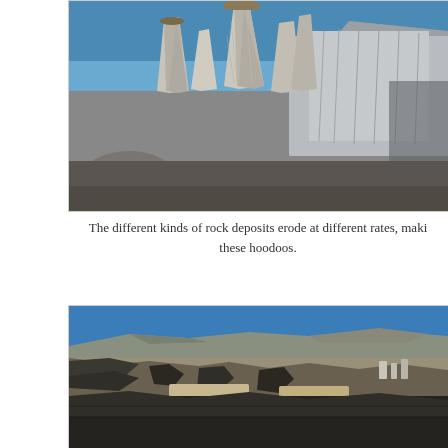[Figure (photo): Close-up photograph of tall hoodoo rock formations in a desert landscape. The hoodoos are light-colored, eroded sandstone pillars with darker cap rocks on top. A clear blue sky is visible in the background, and there are large rounded boulders in the foreground.]
The different kinds of rock deposits erode at different rates, maki these hoodoos.
[Figure (photo): Wide panoramic photograph of a desert badlands landscape. The scene shows eroded terrain with dark-layered rock formations, light sandy areas, and flat-topped mesas in the distance under a clear blue sky.]